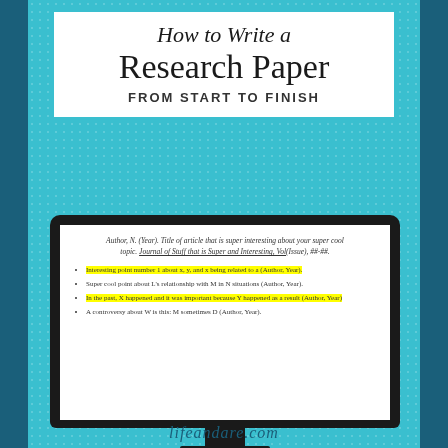How to Write a Research Paper From Start to Finish
[Figure (illustration): A computer monitor displaying a research paper reference and highlighted bullet points, on a teal dotted background with dark blue side borders]
lifeandare.com